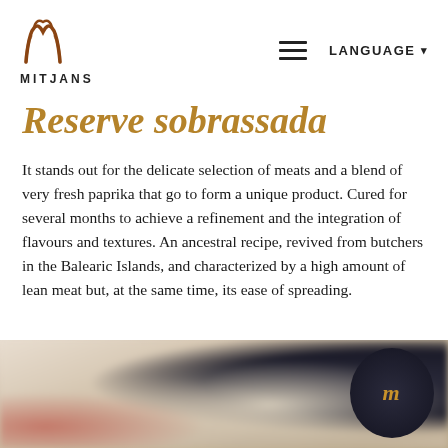MITJANS
Reserve sobrassada
It stands out for the delicate selection of meats and a blend of very fresh paprika that go to form a unique product. Cured for several months to achieve a refinement and the integration of flavours and textures. An ancestral recipe, revived from butchers in the Balearic Islands, and characterized by a high amount of lean meat but, at the same time, its ease of spreading.
[Figure (photo): Blurred background photo of Mitjans sobrassada products including wrapped meats, red ingredients, and a dark circular branded label with the letter m in gold/bronze on a dark navy background.]